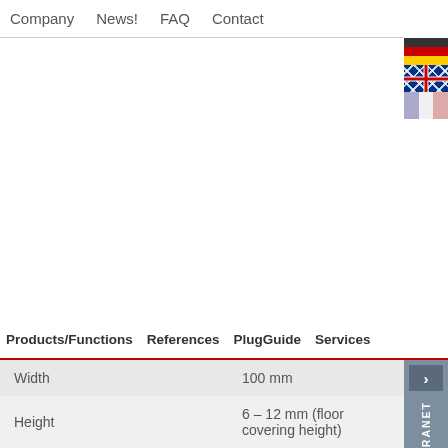Company   News!   FAQ   Contact
Products/Functions   References   PlugGuide   Services
| Property | Value |
| --- | --- |
| Width | 100 mm |
| Height | 6 – 12 mm (floor covering height) |
| Supply air | PL200 |
| Exhaust air | no |
[Figure (screenshot): Image strip showing product installation photos]
LOGIN EXTRANET
FACHP